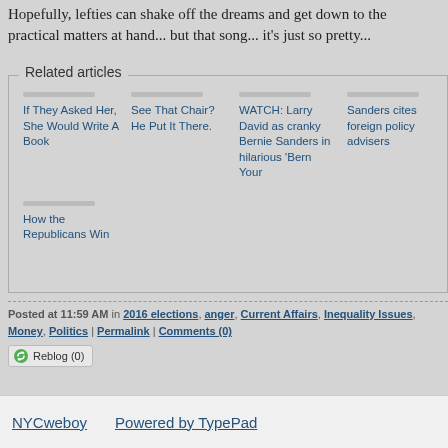Hopefully, lefties can shake off the dreams and get down to the practical matters at hand... but that song... it's just so pretty...
Related articles
If They Asked Her, She Would Write A Book
See That Chair? He Put It There.
WATCH: Larry David as cranky Bernie Sanders in hilarious 'Bern Your
Sanders cites foreign policy advisers
How the Republicans Win
Posted at 11:59 AM in 2016 elections, anger, Current Affairs, Inequality Issues, Money, Politics | Permalink | Comments (0)
Reblog (0)
NYCweboy   Powered by TypePad